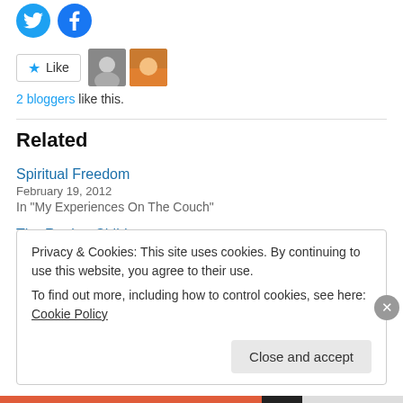[Figure (illustration): Twitter and Facebook circular social media icon buttons in blue]
[Figure (illustration): Like button with star icon, and two blogger avatar thumbnails]
2 bloggers like this.
Related
Spiritual Freedom
February 19, 2012
In "My Experiences On The Couch"
The Raging Child
December 6, 2011
Privacy & Cookies: This site uses cookies. By continuing to use this website, you agree to their use.
To find out more, including how to control cookies, see here: Cookie Policy
Close and accept